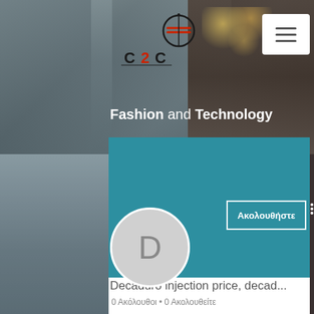[Figure (screenshot): Website header screenshot showing C2C (Concept 2 Consumption) fashion and technology blog. Dark blurred background with store interior. Shows logo with circular emblem and 'C2C CONCEPT 2 CONSUMPTION' text, hamburger menu button, and 'Fashion and Technology' tagline. Below is a teal profile section showing a 'D' avatar, 'Ακολουθήστε' (Follow) button, profile title 'Decaduro injection price, decad...' and '0 Ακόλουθοι • 0 Ακολουθείτε'.]